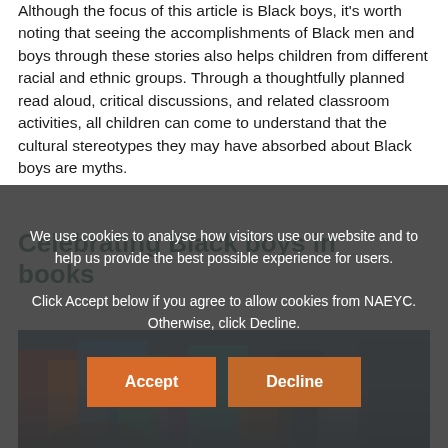Although the focus of this article is Black boys, it's worth noting that seeing the accomplishments of Black men and boys through these stories also helps children from different racial and ethnic groups. Through a thoughtfully planned read aloud, critical discussions, and related classroom activities, all children can come to understand that the cultural stereotypes they may have absorbed about Black boys are myths.
Celebrating Black boys in books
[Figure (photo): Photo of books and educational materials, partially obscured by cookie consent overlay]
We use cookies to analyse how visitors use our website and to help us provide the best possible experience for users.
Click Accept below if you agree to allow cookies from NAEYC. Otherwise, click Decline.